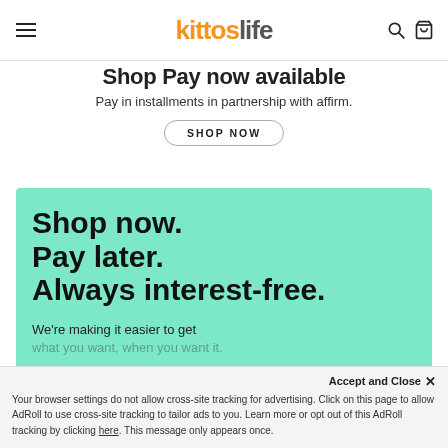kittoslife — navigation header with hamburger menu, logo, search and bag icons
Shop Pay now available
Pay in installments in partnership with affirm.
SHOP NOW
[Figure (infographic): Mint green banner with bold text: Shop now. Pay later. Always interest-free. Followed by: We're making it easier to get what you want, when you want it.]
Accept and Close ✕
Your browser settings do not allow cross-site tracking for advertising. Click on this page to allow AdRoll to use cross-site tracking to tailor ads to you. Learn more or opt out of this AdRoll tracking by clicking here. This message only appears once.